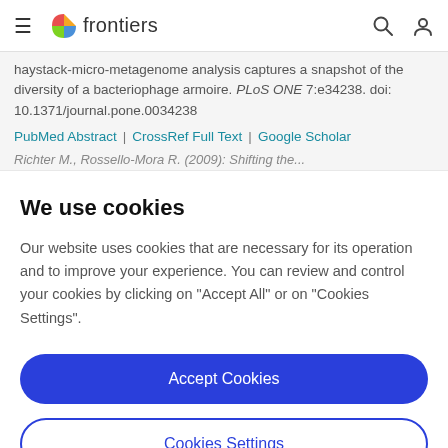frontiers
haystack-micro-metagenome analysis captures a snapshot of the diversity of a bacteriophage armoire. PLoS ONE 7:e34238. doi: 10.1371/journal.pone.0034238
PubMed Abstract | CrossRef Full Text | Google Scholar
Richter M., Rossello-Mora R. (2009): Shifting the...
We use cookies
Our website uses cookies that are necessary for its operation and to improve your experience. You can review and control your cookies by clicking on "Accept All" or on "Cookies Settings".
Accept Cookies
Cookies Settings